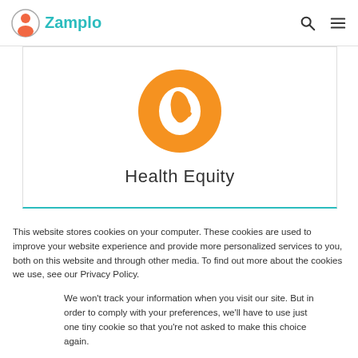Zamplo
[Figure (logo): Zamplo logo with orange globe/person icon and teal Zamplo text]
[Figure (illustration): Orange circle with white globe/earth icon representing Health Equity]
Health Equity
This website stores cookies on your computer. These cookies are used to improve your website experience and provide more personalized services to you, both on this website and through other media. To find out more about the cookies we use, see our Privacy Policy.
We won't track your information when you visit our site. But in order to comply with your preferences, we'll have to use just one tiny cookie so that you're not asked to make this choice again.